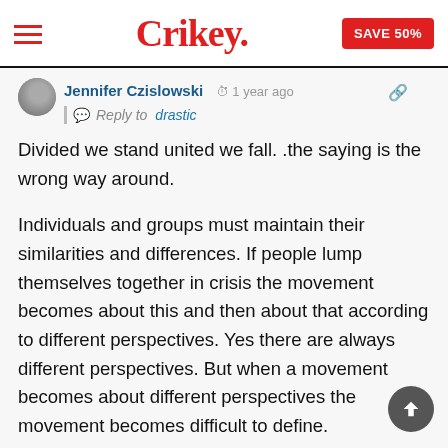Crikey. | SAVE 50%
Jennifer Czislowski  1 year ago
Reply to drastic
Divided we stand united we fall. .the saying is the wrong way around.

Individuals and groups must maintain their similarities and differences. If people lump themselves together in crisis the movement becomes about this and then about that according to different perspectives. Yes there are always different perspectives. But when a movement becomes about different perspectives the movement becomes difficult to define.